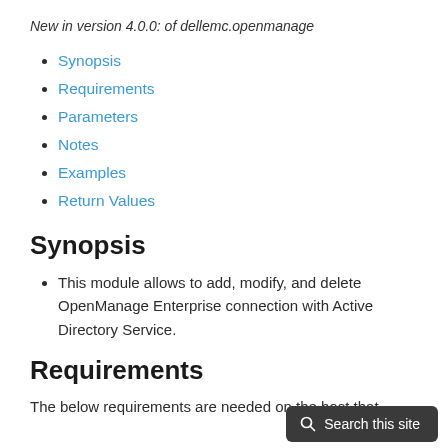New in version 4.0.0: of dellemc.openmanage
Synopsis
Requirements
Parameters
Notes
Examples
Return Values
Synopsis
This module allows to add, modify, and delete OpenManage Enterprise connection with Active Directory Service.
Requirements
The below requirements are needed on the host that